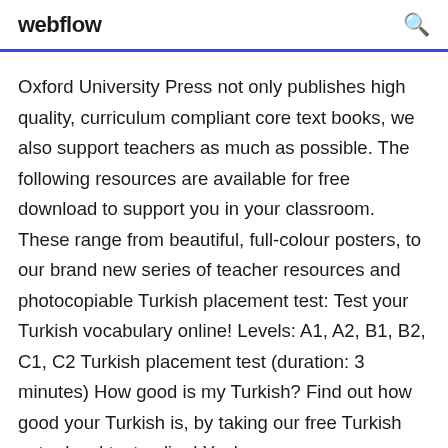webflow
Oxford University Press not only publishes high quality, curriculum compliant core text books, we also support teachers as much as possible. The following resources are available for free download to support you in your classroom. These range from beautiful, full-colour posters, to our brand new series of teacher resources and photocopiable Turkish placement test: Test your Turkish vocabulary online! Levels: A1, A2, B1, B2, C1, C2 Turkish placement test (duration: 3 minutes) How good is my Turkish? Find out how good your Turkish is, by taking our free Turkish entry-level test online! You've also demonstrated Turkish skills and would like to